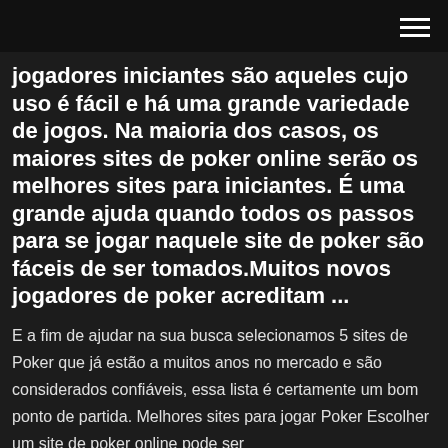jogadores iniciantes são aqueles cujo uso é fácil e há uma grande variedade de jogos. Na maioria dos casos, os maiores sites de poker online serão os melhores sites para iniciantes. É uma grande ajuda quando todos os passos para se jogar naquele site de poker são fáceis de ser tomados.Muitos novos jogadores de poker acreditam ...
E a fim de ajudar na sua busca selecionamos 5 sites de Poker que já estão a muitos anos no mercado e são considerados confiáveis, essa lista é certamente um bom ponto de partida. Melhores sites para jogar Poker Escolher um site de poker online pode ser